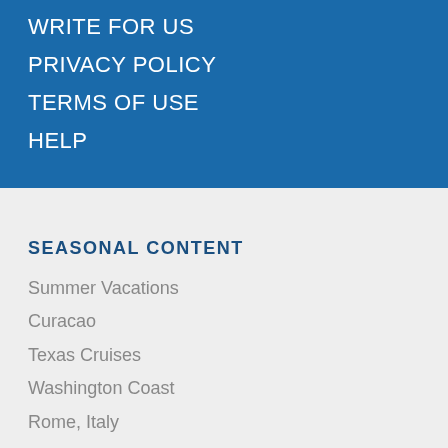WRITE FOR US
PRIVACY POLICY
TERMS OF USE
HELP
SEASONAL CONTENT
Summer Vacations
Curacao
Texas Cruises
Washington Coast
Rome, Italy
Nantucket
NEW TRAVEL GUIDES
Coronavirus
Foil Wings